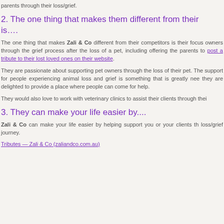parents through their loss/grief.
2. The one thing that makes them different from their is….
The one thing that makes Zali & Co different from their competitors is their focus owners through the grief process after the loss of a pet, including offering the parents to post a tribute to their lost loved ones on their website.
They are passionate about supporting pet owners through the loss of their pet. The support for people experiencing animal loss and grief is something that is greatly nee they are delighted to provide a place where people can come for help.
They would also love to work with veterinary clinics to assist their clients through thei
3. They can make your life easier by....
Zali & Co can make your life easier by helping support you or your clients th loss/grief journey.
Tributes — Zali & Co (zaliandco.com.au)